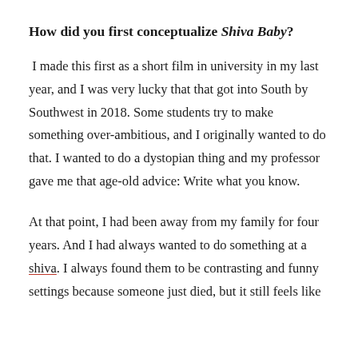How did you first conceptualize Shiva Baby?
I made this first as a short film in university in my last year, and I was very lucky that that got into South by Southwest in 2018. Some students try to make something over-ambitious, and I originally wanted to do that. I wanted to do a dystopian thing and my professor gave me that age-old advice: Write what you know.
At that point, I had been away from my family for four years. And I had always wanted to do something at a shiva. I always found them to be contrasting and funny settings because someone just died, but it still feels like